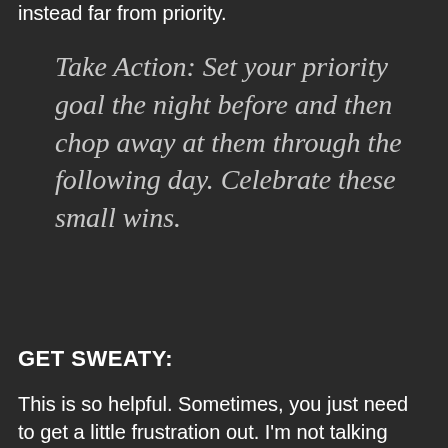instead far from priority.
Take Action: Set your priority goal the night before and then chop away at them through the following day. Celebrate these small wins.
GET SWEATY:
This is so helpful. Sometimes, you just need to get a little frustration out. I'm not talking about going to